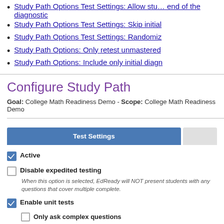Study Path Options Test Settings: Allow students to retake at the end of the diagnostic
Study Path Options Test Settings: Skip initial
Study Path Options Test Settings: Randomiz
Study Path Options: Only retest unmastered
Study Path Options: Include only initial diagn
Configure Study Path
Goal: College Math Readiness Demo - Scope: College Math Readiness Demo
Test Settings
Active
Disable expedited testing
When this option is selected, EdReady will NOT present students with any questions that cover multiple complete.
Enable unit tests
Only ask complex questions
Allow students to skip items...